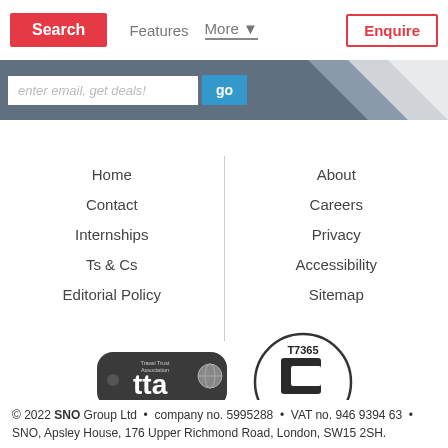Search   Features   More   Enquire
[Figure (screenshot): Email signup bar with input 'enter email, get deals!' and blue 'go' button, with diagonal geometric background graphic top right]
Home
Contact
Internships
Ts & Cs
Editorial Policy
About
Careers
Privacy
Accessibility
Sitemap
[Figure (logo): TTA Travel Trust Association badge with number U7488]
[Figure (logo): ATOL Protected circular badge with number T7365]
© 2022 SNO Group Ltd • company no. 5995288 • VAT no. 946 9394 63 • SNO, Apsley House, 176 Upper Richmond Road, London, SW15 2SH.